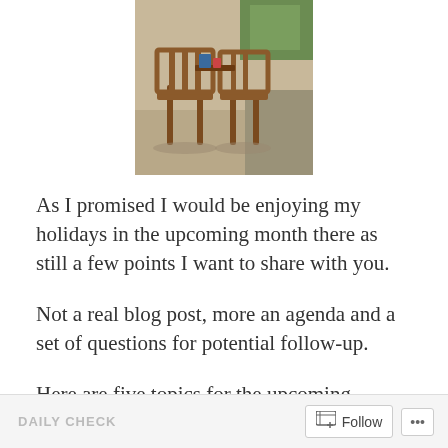[Figure (photo): Photo of wooden chairs and outdoor seating area with gravel ground and greenery in background]
As I promised I would be enjoying my holidays in the upcoming month there as still a few points I want to share with you.
Not a real blog post, more an agenda and a set of questions for potential follow-up.
Here are five topics for the upcoming months, potentially also relevant and interesting for you. Have a look.
DAILY CHECK  Follow ...